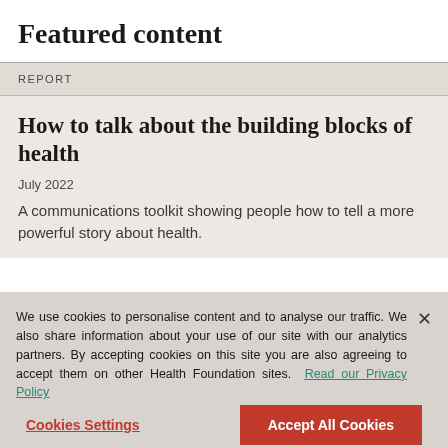Featured content
REPORT
How to talk about the building blocks of health
July 2022
A communications toolkit showing people how to tell a more powerful story about health.
We use cookies to personalise content and to analyse our traffic. We also share information about your use of our site with our analytics partners. By accepting cookies on this site you are also agreeing to accept them on other Health Foundation sites. Read our Privacy Policy
Cookies Settings
Accept All Cookies